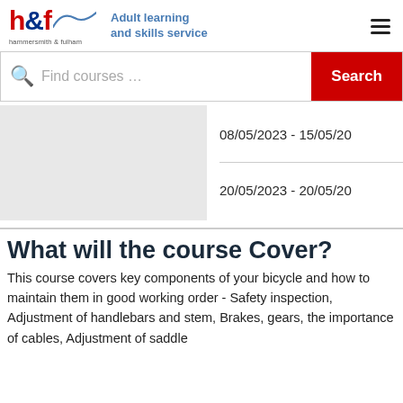[Figure (logo): Hammersmith & Fulham council logo with 'h&f' text and swirl, plus 'Adult learning and skills service' text]
Find courses …
Search
[Figure (photo): Gray placeholder image for a course]
08/05/2023 - 15/05/20
20/05/2023 - 20/05/20
What will the course Cover?
This course covers key components of your bicycle and how to maintain them in good working order - Safety inspection, Adjustment of handlebars and stem, Brakes, gears, the importance of cables, Adjustment of saddle